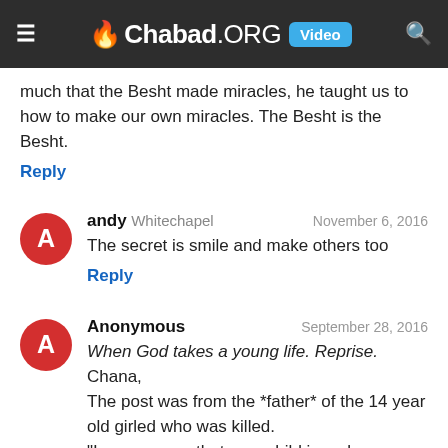Chabad.ORG Video
much that the Besht made miracles, he taught us to how to make our own miracles. The Besht is the Besht.
Reply
andy Whitechapel November 6, 2016
The secret is smile and make others too
Reply
Anonymous September 28, 2016
When God takes a young life. Reprise.
Chana,
The post was from the *father* of the 14 year old girled who was killed.
"I am so sorry that your child is no longer with